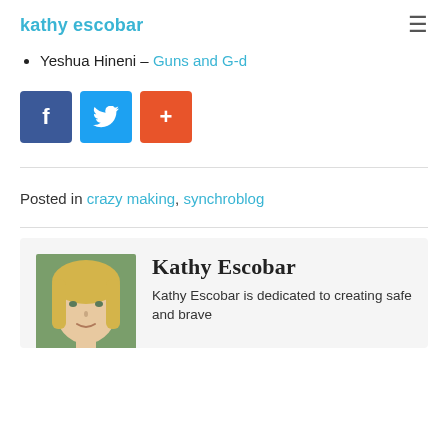kathy escobar
Yeshua Hineni – Guns and G-d
[Figure (other): Social share buttons: Facebook (blue), Twitter (light blue), Google+ (orange-red)]
Posted in crazy making, synchroblog
[Figure (photo): Author photo of Kathy Escobar, a blonde woman outdoors]
Kathy Escobar
Kathy Escobar is dedicated to creating safe and brave